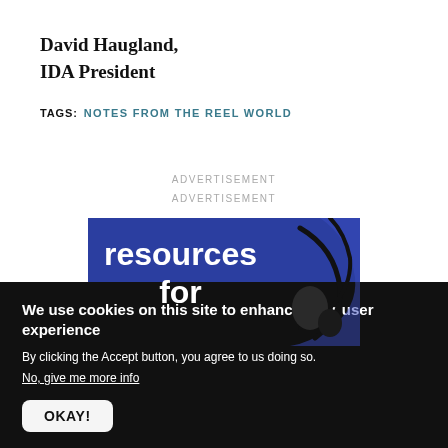David Haugland,
IDA President
TAGS: NOTES FROM THE REEL WORLD
ADVERTISEMENT
ADVERTISEMENT
[Figure (illustration): Blue banner with white bold text reading 'resources for' and decorative black line illustration on the right side.]
We use cookies on this site to enhance your user experience
By clicking the Accept button, you agree to us doing so.
No, give me more info
OKAY!